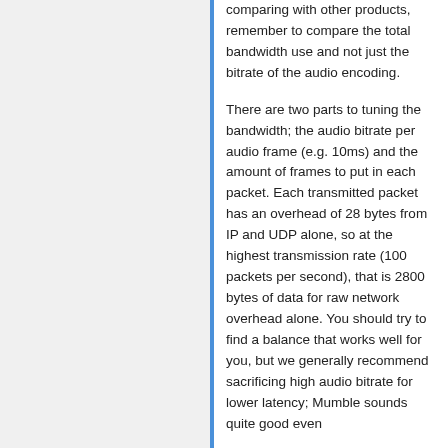comparing with other products, remember to compare the total bandwidth use and not just the bitrate of the audio encoding.
There are two parts to tuning the bandwidth; the audio bitrate per audio frame (e.g. 10ms) and the amount of frames to put in each packet. Each transmitted packet has an overhead of 28 bytes from IP and UDP alone, so at the highest transmission rate (100 packets per second), that is 2800 bytes of data for raw network overhead alone. You should try to find a balance that works well for you, but we generally recommend sacrificing high audio bitrate for lower latency; Mumble sounds quite good even